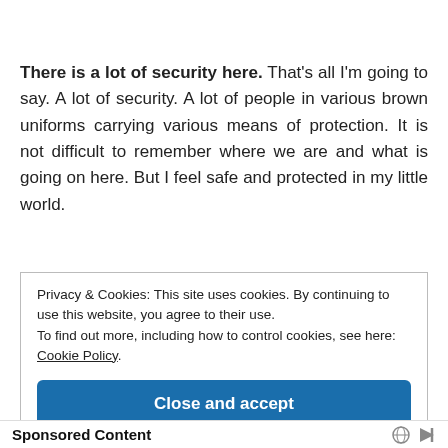There is a lot of security here. That's all I'm going to say. A lot of security. A lot of people in various brown uniforms carrying various means of protection. It is not difficult to remember where we are and what is going on here. But I feel safe and protected in my little world.
Privacy & Cookies: This site uses cookies. By continuing to use this website, you agree to their use.
To find out more, including how to control cookies, see here: Cookie Policy
Close and accept
Sponsored Content